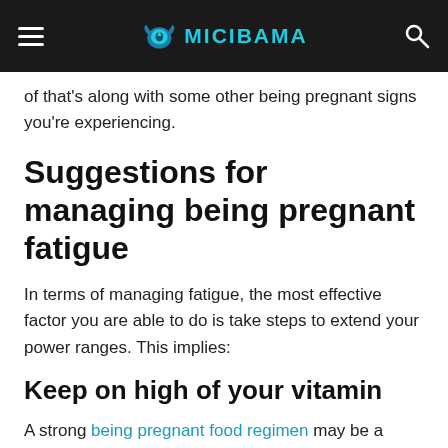MICIBAMA
of that's along with some other being pregnant signs you're experiencing.
Suggestions for managing being pregnant fatigue
In terms of managing fatigue, the most effective factor you are able to do is take steps to extend your power ranges. This implies:
Keep on high of your vitamin
A strong being pregnant food regimen may be a good way to maintain your power up. Particularly, concentrate on getting